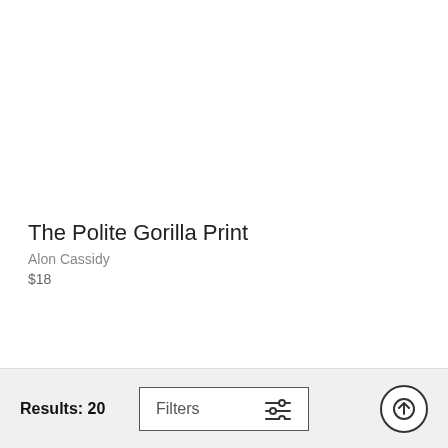The Polite Gorilla Print
Alon Cassidy
$18
Results: 20
Filters